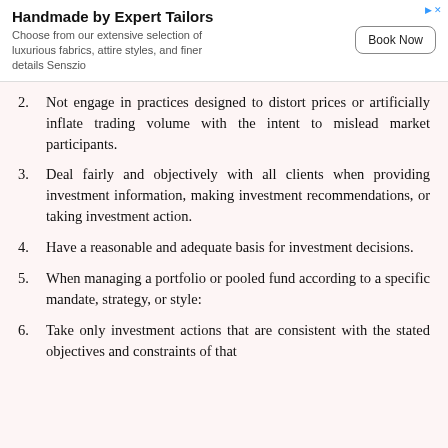Handmade by Expert Tailors — Choose from our extensive selection of luxurious fabrics, attire styles, and finer details Senszio [Book Now]
2. Not engage in practices designed to distort prices or artificially inflate trading volume with the intent to mislead market participants.
3. Deal fairly and objectively with all clients when providing investment information, making investment recommendations, or taking investment action.
4. Have a reasonable and adequate basis for investment decisions.
5. When managing a portfolio or pooled fund according to a specific mandate, strategy, or style:
6. Take only investment actions that are consistent with the stated objectives and constraints of that